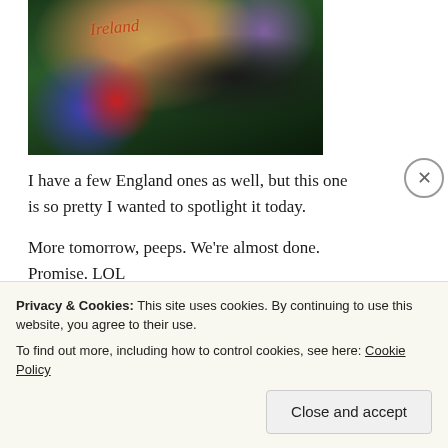[Figure (photo): Close-up photo of a Christmas ornament with 'Ireland' written on it in red italic text, surrounded by green pine branches with gold and red decorations. Dark/moody background.]
I have a few England ones as well, but this one is so pretty I wanted to spotlight it today.
More tomorrow, peeps. We're almost done. Promise. LOL
~ Peg
Privacy & Cookies: This site uses cookies. By continuing to use this website, you agree to their use.
To find out more, including how to control cookies, see here: Cookie Policy